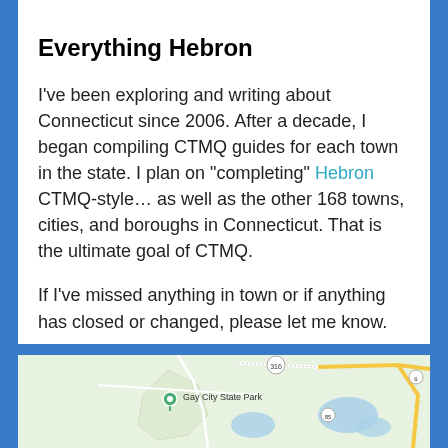Everything Hebron
I've been exploring and writing about Connecticut since 2006. After a decade, I began compiling CTMQ guides for each town in the state. I plan on “completing” Hebron CTMQ-style… as well as the other 168 towns, cities, and boroughs in Connecticut. That is the ultimate goal of CTMQ.
If I've missed anything in town or if anything has closed or changed, please let me know.
[Figure (map): Google Maps view showing Gay City State Park area in Hebron, Connecticut, with route markers and water bodies visible.]